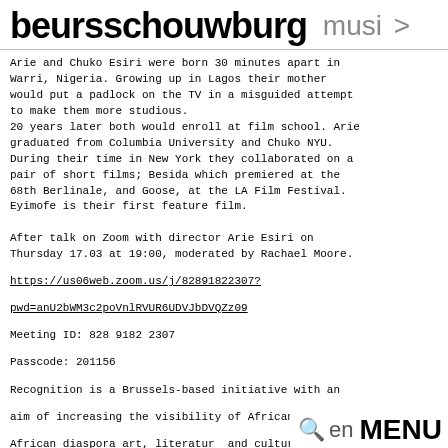beursschouwburg musi >
Arie and Chuko Esiri were born 30 minutes apart in Warri, Nigeria. Growing up in Lagos their mother would put a padlock on the TV in a misguided attempt to make them more studious.
20 years later both would enroll at film school. Arie graduated from Columbia University and Chuko NYU. During their time in New York they collaborated on a pair of short films; Besida which premiered at the 68th Berlinale, and Goose, at the LA Film Festival. Eyimofe is their first feature film.
After talk on Zoom with director Arie Esiri on Thursday 17.03 at 19:00, moderated by Rachael Moore.
https://us06web.zoom.us/j/82891822307?pwd=anU2bWM3c2poVnlRVUR6UDVJbDVQZz09
Meeting ID: 828 9182 2307
Passcode: 201156
Recognition is a Brussels-based initiative with an aim of increasing the visibility of African and African diaspora art, literature and culture via community-based film screenings, workshops and expositions. It is an effort to identify, remember